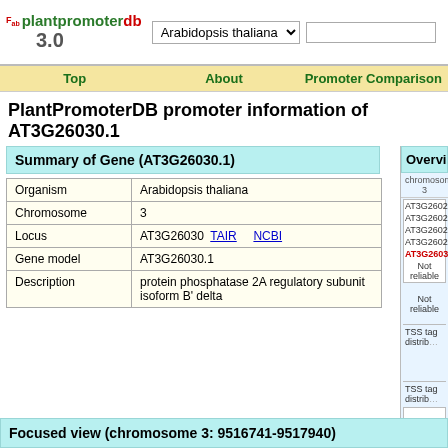plantpromoterdb 3.0 — Arabidopsis thaliana selector
Top | About | Promoter Comparison
PlantPromoterDB promoter information of AT3G26030.1
Summary of Gene (AT3G26030.1)
|  |  |
| --- | --- |
| Organism | Arabidopsis thaliana |
| Chromosome | 3 |
| Locus | AT3G26030  TAIR  NCBI |
| Gene model | AT3G26030.1 |
| Description | protein phosphatase 2A regulatory subunit isoform B' delta |
Overview
chromosome 3
AT3G26020.1
AT3G26020.2
AT3G26020.3
AT3G26020.4
AT3G26030.1
Not reliable
Not reliable
TSS tag distrib
TSS tag distrib
Focused view (chromosome 3: 9516741-9517940)